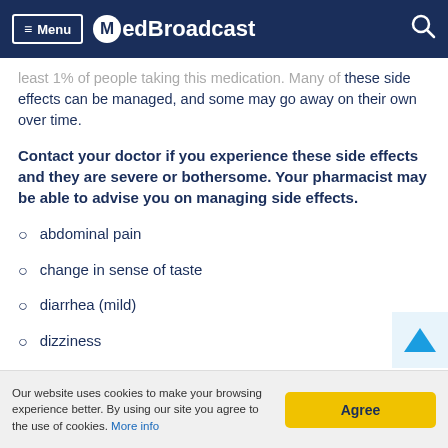≡ Menu  MedBroadcast
least 1% of people taking this medication. Many of these side effects can be managed, and some may go away on their own over time.
Contact your doctor if you experience these side effects and they are severe or bothersome. Your pharmacist may be able to advise you on managing side effects.
abdominal pain
change in sense of taste
diarrhea (mild)
dizziness
Our website uses cookies to make your browsing experience better. By using our site you agree to the use of cookies. More info